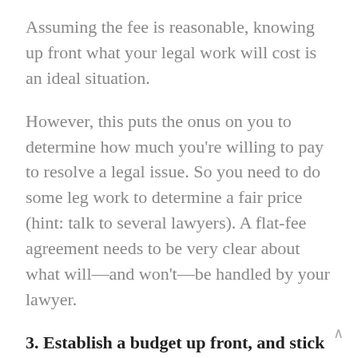Assuming the fee is reasonable, knowing up front what your legal work will cost is an ideal situation.
However, this puts the onus on you to determine how much you’re willing to pay to resolve a legal issue. So you need to do some leg work to determine a fair price (hint: talk to several lawyers). A flat-fee agreement needs to be very clear about what will—and won’t—be handled by your lawyer.
3. Establish a budget up front, and stick to it.
This means communicating your budget clearly to your lawyer before the project